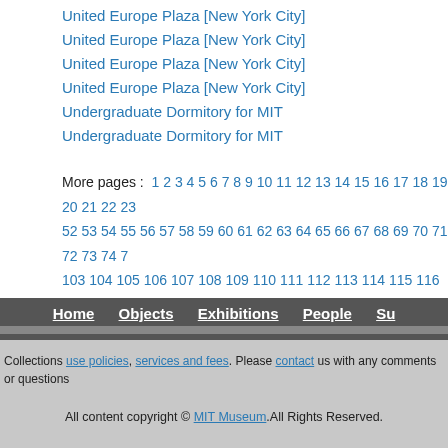United Europe Plaza [New York City]
United Europe Plaza [New York City]
United Europe Plaza [New York City]
United Europe Plaza [New York City]
Undergraduate Dormitory for MIT
Undergraduate Dormitory for MIT
More pages : 1 2 3 4 5 6 7 8 9 10 11 12 13 14 15 16 17 18 19 20 21 22 23 52 53 54 55 56 57 58 59 60 61 62 63 64 65 66 67 68 69 70 71 72 73 74 7 103 104 105 106 107 108 109 110 111 112 113 114 115 116 117 118 119 140 141 142 143 144 145 146
Home Objects Exhibitions People Su
Collections use policies, services and fees. Please contact us with any comments or questions
All content copyright © MIT Museum. All Rights Reserved.